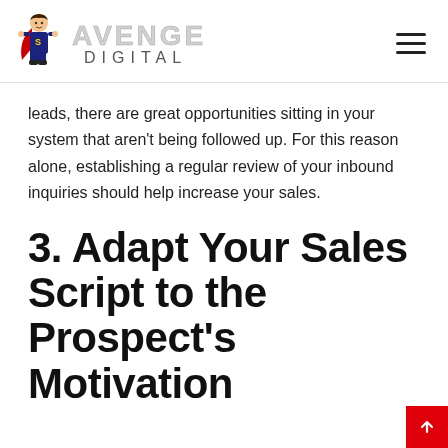Avenge Digital
leads, there are great opportunities sitting in your system that aren't being followed up. For this reason alone, establishing a regular review of your inbound inquiries should help increase your sales.
3. Adapt Your Sales Script to the Prospect's Motivation